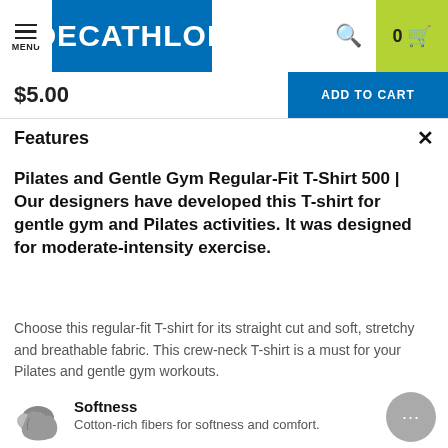[Figure (logo): Decathlon website header with hamburger menu icon labeled MENU, Decathlon blue logo, search icon, and cart with count 0 and yellow-green background]
$5.00
ADD TO CART
Features
Pilates and Gentle Gym Regular-Fit T-Shirt 500 | Our designers have developed this T-shirt for gentle gym and Pilates activities. It was designed for moderate-intensity exercise.
Choose this regular-fit T-shirt for its straight cut and soft, stretchy and breathable fabric. This crew-neck T-shirt is a must for your Pilates and gentle gym workouts.
Softness
Cotton-rich fibers for softness and comfort.